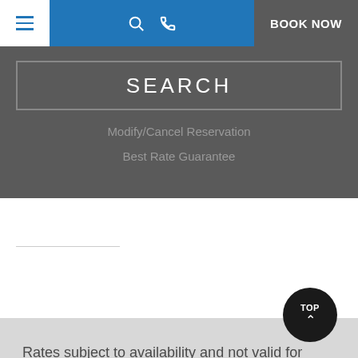[Figure (screenshot): Top navigation bar with hamburger menu icon on left, blue center section with search and phone icons, and dark gray 'BOOK NOW' button on right]
[Figure (screenshot): Dark gray search panel with 'SEARCH' button outlined in border, 'Modify/Cancel Reservation' and 'Best Rate Guarantee' links below]
Rates subject to availability and not valid for groups. Rates do not include tax or nightly Hospitality Fee. Follows resort's standard cancellation policy. New reservations only.